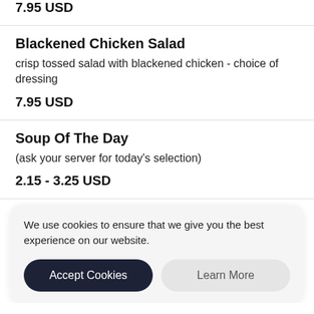7.95 USD
Blackened Chicken Salad
crisp tossed salad with blackened chicken - choice of dressing
7.95 USD
Soup Of The Day
(ask your server for today's selection)
2.15 - 3.25 USD
We use cookies to ensure that we give you the best experience on our website.
Accept Cookies
Learn More
Philly Subs